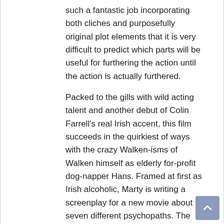such a fantastic job incorporating both cliches and purposefully original plot elements that it is very difficult to predict which parts will be useful for furthering the action until the action is actually furthered.
Packed to the gills with wild acting talent and another debut of Colin Farrell's real Irish accent, this film succeeds in the quirkiest of ways with the crazy Walken-isms of Walken himself as elderly for-profit dog-napper Hans. Framed at first as Irish alcoholic, Marty is writing a screenplay for a new movie about seven different psychopaths. The problem is he only has the title so far, and his best friend Bill Bickle (the incorrigible Sam Rockwell) decides to help him write. While it becomes more and